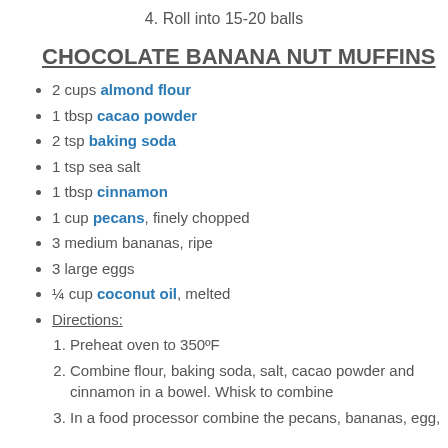4. Roll into 15-20 balls
CHOCOLATE BANANA NUT MUFFINS
2 cups almond flour
1 tbsp cacao powder
2 tsp baking soda
1 tsp sea salt
1 tbsp cinnamon
1 cup pecans, finely chopped
3 medium bananas, ripe
3 large eggs
¼ cup coconut oil, melted
Directions:
1. Preheat oven to 350ºF
2. Combine flour, baking soda, salt, cacao powder and cinnamon in a bowel. Whisk to combine
3. In a food processor combine the pecans, bananas, egg,